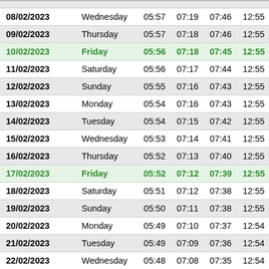| Date | Day | Col3 | Col4 | Col5 | Col6 | Col7 |
| --- | --- | --- | --- | --- | --- | --- |
| 08/02/2023 | Wednesday | 05:57 | 07:19 | 07:46 | 12:55 | 1 |
| 09/02/2023 | Thursday | 05:57 | 07:18 | 07:46 | 12:55 | 1 |
| 10/02/2023 | Friday | 05:56 | 07:18 | 07:45 | 12:55 | 1 |
| 11/02/2023 | Saturday | 05:56 | 07:17 | 07:44 | 12:55 | 1 |
| 12/02/2023 | Sunday | 05:55 | 07:16 | 07:43 | 12:55 | 1 |
| 13/02/2023 | Monday | 05:54 | 07:16 | 07:43 | 12:55 | 1 |
| 14/02/2023 | Tuesday | 05:54 | 07:15 | 07:42 | 12:55 | 1 |
| 15/02/2023 | Wednesday | 05:53 | 07:14 | 07:41 | 12:55 | 1 |
| 16/02/2023 | Thursday | 05:52 | 07:13 | 07:40 | 12:55 | 1 |
| 17/02/2023 | Friday | 05:52 | 07:12 | 07:39 | 12:55 | 1 |
| 18/02/2023 | Saturday | 05:51 | 07:12 | 07:38 | 12:55 | 1 |
| 19/02/2023 | Sunday | 05:50 | 07:11 | 07:38 | 12:55 | 1 |
| 20/02/2023 | Monday | 05:49 | 07:10 | 07:37 | 12:54 | 1 |
| 21/02/2023 | Tuesday | 05:49 | 07:09 | 07:36 | 12:54 | 1 |
| 22/02/2023 | Wednesday | 05:48 | 07:08 | 07:35 | 12:54 | 1 |
| 23/02/2023 | Thursday | 05:47 | 07:07 | 07:34 | 12:54 | 1 |
| 24/02/2023 | Friday | 05:46 | 07:06 | 07:33 | 12:54 | 1 |
| 25/02/2023 | Saturday | 05:45 | 07:05 | 07:32 | 12:54 | 1 |